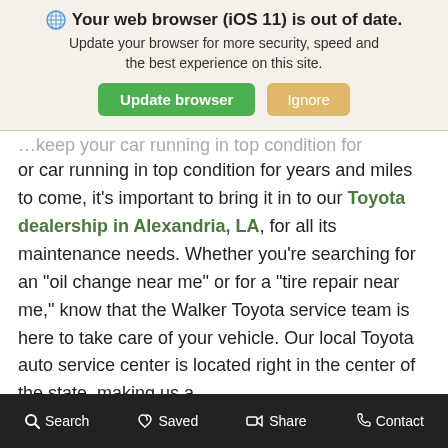🌐 Your web browser (iOS 11) is out of date. Update your browser for more security, speed and the best experience on this site.
or car running in top condition for years and miles to come, it's important to bring it in to our Toyota dealership in Alexandria, LA, for all its maintenance needs. Whether you're searching for an "oil change near me" or for a "tire repair near me," know that the Walker Toyota service team is here to take care of your vehicle. Our local Toyota auto service center is located right in the center of the state, making us a
Search   Saved   Share   Contact